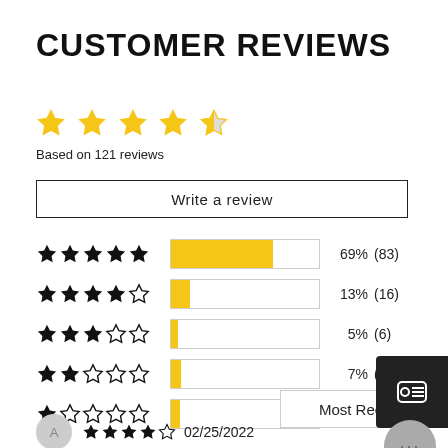CUSTOMER REVIEWS
[Figure (other): 4.5 star rating display (filled and half star icons)]
Based on 121 reviews
Write a review
[Figure (bar-chart): Rating distribution]
Most Recent
02/25/2022